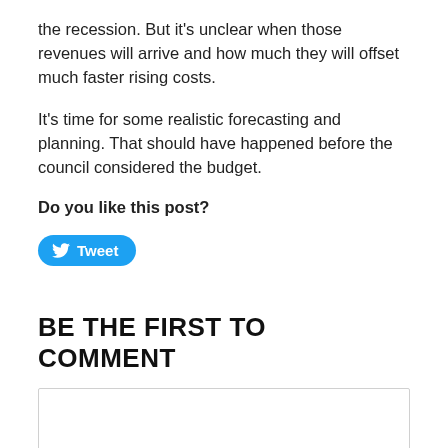the recession. But it's unclear when those revenues will arrive and how much they will offset much faster rising costs.
It's time for some realistic forecasting and planning. That should have happened before the council considered the budget.
Do you like this post?
[Figure (other): Twitter Tweet button — a blue rounded pill button with Twitter bird icon and the text 'Tweet']
BE THE FIRST TO COMMENT
[Figure (other): Empty comment text input box with light grey border]